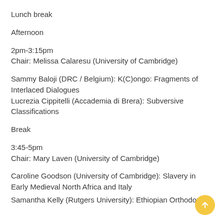Lunch break
Afternoon
2pm-3:15pm
Chair: Melissa Calaresu (University of Cambridge)
Sammy Baloji (DRC / Belgium): K(C)ongo: Fragments of Interlaced Dialogues
Lucrezia Cippitelli (Accademia di Brera): Subversive Classifications
Break
3:45-5pm
Chair: Mary Laven (University of Cambridge)
Caroline Goodson (University of Cambridge): Slavery in Early Medieval North Africa and Italy
Samantha Kelly (Rutgers University): Ethiopian Orthodox in